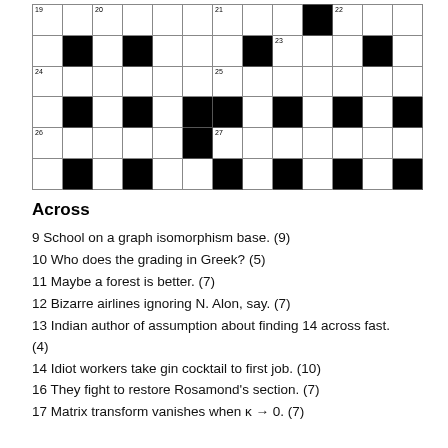[Figure (other): Partial crossword grid showing rows with numbers 19, 20, 21, 22, 23, 24, 25, 26, 27 and black/white squares]
Across
9 School on a graph isomorphism base. (9)
10 Who does the grading in Greek? (5)
11 Maybe a forest is better. (7)
12 Bizarre airlines ignoring N. Alon, say. (7)
13 Indian author of assumption about finding 14 across fast. (4)
14 Idiot workers take gin cocktail to first job. (10)
16 They fight to restore Rosamond's section. (7)
17 Matrix transform vanishes when κ → 0. (7)